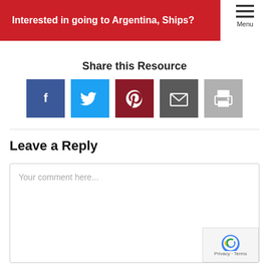Interested in going to Argentina, Ships?
Share this Resource
[Figure (infographic): Social share buttons: Facebook, Twitter, Pinterest, Email, Print]
Leave a Reply
Your comment here...